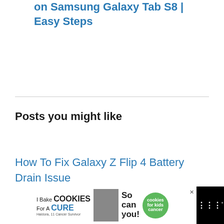on Samsung Galaxy Tab S8 | Easy Steps
Posts you might like
How To Fix Galaxy Z Flip 4 Battery Drain Issue
[Figure (other): Advertisement banner: I Bake COOKIES For A CURE - Haldora, 11 Cancer Survivor - So can you! Cookies for Kids Cancer]